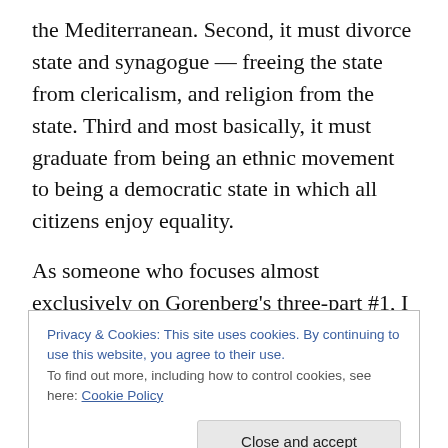the Mediterranean. Second, it must divorce state and synagogue — freeing the state from clericalism, and religion from the state. Third and most basically, it must graduate from being an ethnic movement to being a democratic state in which all citizens enjoy equality.
As someone who focuses almost exclusively on Gorenberg's three-part #1, I must say I got a little bit of a frisson in my Israel-loving heart when I realized that hey now, he's about to say that ending the occupation/settlements is not the be-all, end-all! Because
Privacy & Cookies: This site uses cookies. By continuing to use this website, you agree to their use.
To find out more, including how to control cookies, see here: Cookie Policy
to essentially save Israel from itself, and perhaps the